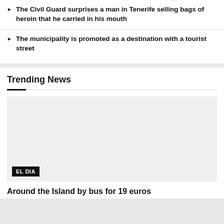The Civil Guard surprises a man in Tenerife selling bags of heroin that he carried in his mouth
The municipality is promoted as a destination with a tourist street
Trending News
[Figure (photo): Gray placeholder image with EL DIA badge at bottom left]
Around the Island by bus for 19 euros